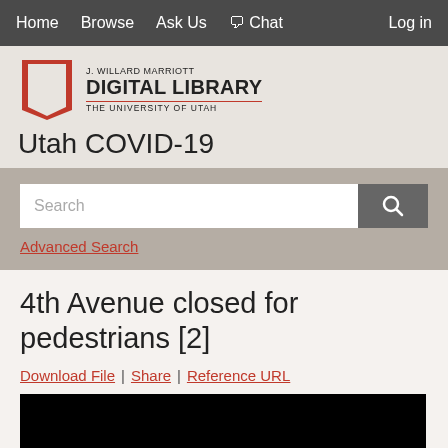Home  Browse  Ask Us  Chat  Log in
[Figure (logo): J. Willard Marriott Digital Library, The University of Utah logo with red U]
Utah COVID-19
Search
Advanced Search
4th Avenue closed for pedestrians [2]
Download File | Share | Reference URL
[Figure (photo): Black image preview area]